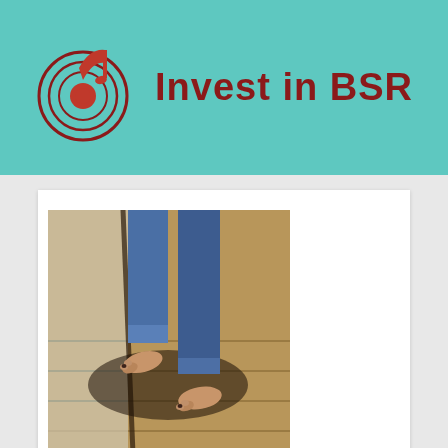[Figure (logo): Invest in BSR logo: concentric circles with a music note in red/dark red, and bold text 'Invest in BSR' in dark red, on a teal background]
[Figure (photo): A person walking barefoot on buckling/warped vinyl plank flooring, wearing jeans with rolled cuffs]
How to Fix a Buckling Vinyl Plank Fl...